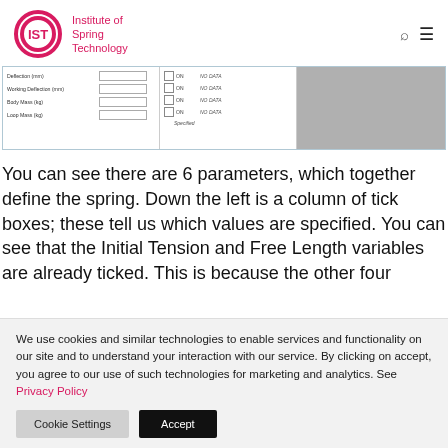Institute of Spring Technology
[Figure (screenshot): Screenshot of spring parameter input form showing fields: Deflection (mm), Working Deflection (mm), Body Mass (Kg), Loop Mass (Kg) on left; and rows with checkboxes ON/OFF and NO DATA labels, plus Specified field on right; grey panel on far right.]
You can see there are 6 parameters, which together define the spring. Down the left is a column of tick boxes; these tell us which values are specified. You can see that the Initial Tension and Free Length variables are already ticked. This is because the other four
We use cookies and similar technologies to enable services and functionality on our site and to understand your interaction with our service. By clicking on accept, you agree to our use of such technologies for marketing and analytics. See Privacy Policy
Cookie Settings   Accept